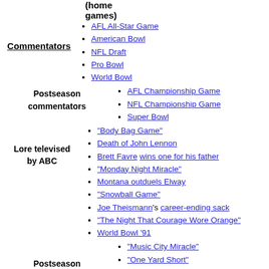(home games)
AFL All-Star Game
American Bowl
NFL Draft
Pro Bowl
World Bowl
Commentators
Postseason commentators
AFL Championship Game
NFL Championship Game
Super Bowl
Lore televised by ABC
"Body Bag Game"
Death of John Lennon
Brett Favre wins one for his father
"Monday Night Miracle"
Montana outduels Elway
"Snowball Game"
Joe Theismann's career-ending sack
"The Night That Courage Wore Orange"
World Bowl '91
Postseason lore
"Music City Miracle"
"One Yard Short"
"The Star-Spangled Banner" (Whitney Houston recording)